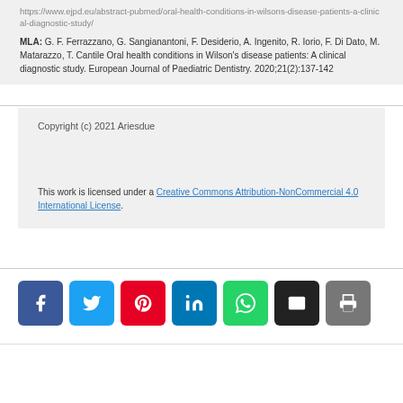https://www.ejpd.eu/abstract-pubmed/oral-health-conditions-in-wilsons-disease-patients-a-clinical-diagnostic-study/
MLA: G. F. Ferrazzano, G. Sangianantoni, F. Desiderio, A. Ingenito, R. Iorio, F. Di Dato, M. Matarazzo, T. Cantile Oral health conditions in Wilson’s disease patients: A clinical diagnostic study. European Journal of Paediatric Dentistry. 2020;21(2):137-142
Copyright (c) 2021 Ariesdue
This work is licensed under a Creative Commons Attribution-NonCommercial 4.0 International License.
[Figure (infographic): Social share buttons: Facebook (blue), Twitter (light blue), Pinterest (red), LinkedIn (dark blue), WhatsApp (green), Email (black), Print (gray)]